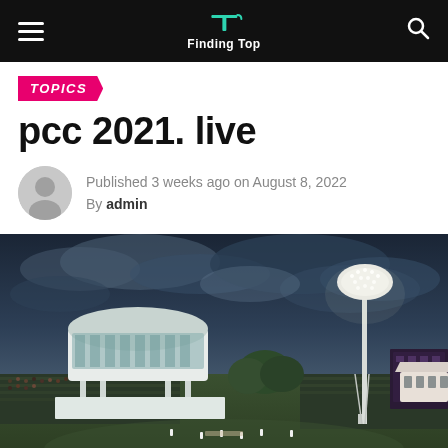Finding Top
TOPICS
pcc 2021. live
Published 3 weeks ago on August 8, 2022
By admin
[Figure (photo): Cricket ground (Lord's Cricket Ground) with a large crowd, dramatic stormy dark blue sky with clouds, floodlight tower on the right, and the distinctive Media Centre stand visible on the left.]